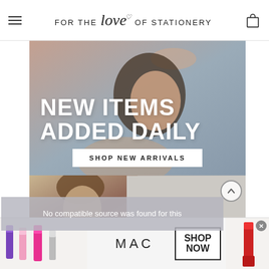FOR THE love OF STATIONERY
[Figure (photo): Fashion/lifestyle banner image of a woman with arm raised overhead, text overlay reading NEW ITEMS ADDED DAILY with SHOP NEW ARRIVALS button]
[Figure (photo): Second fashion image showing a woman's face, with Lulus script logo and a scroll-up button circle]
No compatible source was found for this
[Figure (advertisement): MAC Cosmetics ad banner with lipsticks and SHOP NOW button]